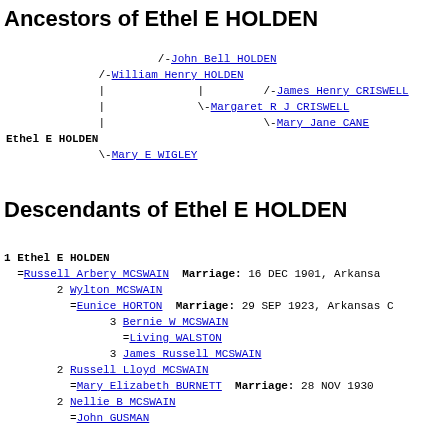Ancestors of Ethel E HOLDEN
[Figure (other): Ancestor tree diagram for Ethel E HOLDEN showing: /-John Bell HOLDEN, /-William Henry HOLDEN, | | /-James Henry CRISWELL, | \-Margaret R J CRISWELL, | \-Mary Jane CANE, Ethel E HOLDEN, \-Mary E WIGLEY]
Descendants of Ethel E HOLDEN
1 Ethel E HOLDEN
  =Russell Arbery MCSWAIN  Marriage: 16 DEC 1901, Arkansas
      2 Wylton MCSWAIN
        =Eunice HORTON  Marriage: 29 SEP 1923, Arkansas C
            3 Bernie W MCSWAIN
              =Living WALSTON
            3 James Russell MCSWAIN
      2 Russell Lloyd MCSWAIN
        =Mary Elizabeth BURNETT  Marriage: 28 NOV 1930
      2 Nellie B MCSWAIN
        =John GUSMAN